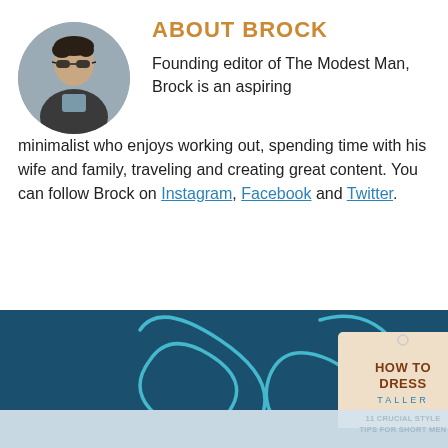[Figure (photo): Circular avatar photo of a young man wearing sunglasses and a leather jacket, looking to the side]
ABOUT BROCK
Founding editor of The Modest Man, Brock is an aspiring minimalist who enjoys working out, spending time with his wife and family, traveling and creating great content. You can follow Brock on Instagram, Facebook and Twitter.
[Figure (infographic): Dark teal/navy background with teal paperclip illustrations and a tag card reading HOW TO DRESS TALLER with subtitle 11 CRUCIAL STYLE TIPS FOR SHORT MEN]